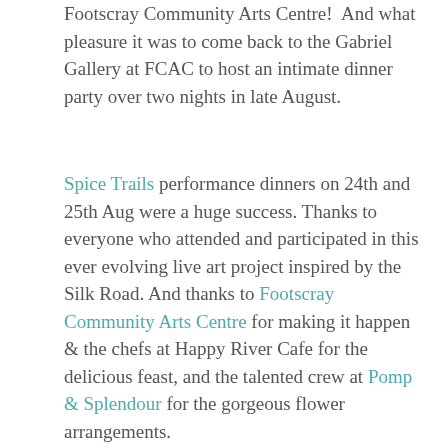Footscray Community Arts Centre!  And what pleasure it was to come back to the Gabriel Gallery at FCAC to host an intimate dinner party over two nights in late August.
Spice Trails performance dinners on 24th and 25th Aug were a huge success. Thanks to everyone who attended and participated in this ever evolving live art project inspired by the Silk Road. And thanks to Footscray Community Arts Centre for making it happen & the chefs at Happy River Cafe for the delicious feast, and the talented crew at Pomp & Splendour for the gorgeous flower arrangements.
The next seating on 26th Oct is now SOLD OUT. But there is a waiting list at this link if you'd like to register your interest should tickets (or new